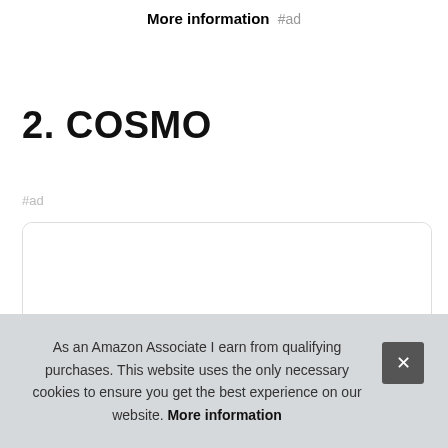More information #ad
2. COSMO
#ad
[Figure (other): Product card placeholder with white background and a partial product image strip at the bottom]
As an Amazon Associate I earn from qualifying purchases. This website uses the only necessary cookies to ensure you get the best experience on our website. More information